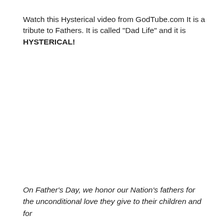Watch this Hysterical video from GodTube.com It is a tribute to Fathers. It is called "Dad Life" and it is HYSTERICAL!
On Father's Day, we honor our Nation's fathers for the unconditional love they give to their children and for